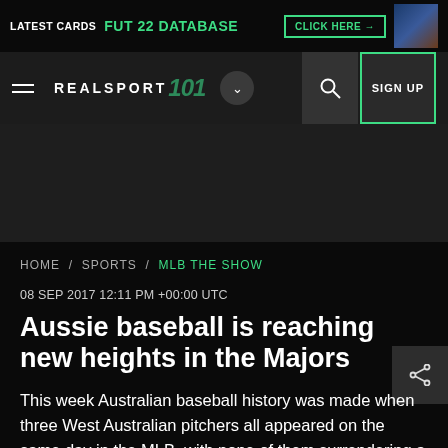LATEST CARDS  FUT 22 DATABASE  CLICK HERE →
REALSPORT 101  SIGN UP
HOME / SPORTS / MLB THE SHOW
08 SEP 2017 12:11 PM +00:00 UTC
Aussie baseball is reaching new heights in the Majors
This week Australian baseball history was made when three West Australian pitchers all appeared on the same day in the MLB, with none of them surrendering a run.